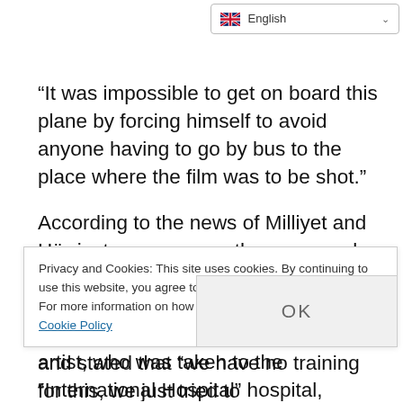🇬🇧 English
“It was impossible to get on board this plane by forcing himself to avoid anyone having to go by bus to the place where the film was to be shot.”
According to the news of Milliyet and Hürriyet newspapers, the personnel on the plane were ignorant of first aid and there was no doctor in the ambulance called. The doctor of the artist, who was taken to the “International Hospital” hospital, stated that Sunal had a heart disease and explained that he
Privacy and Cookies: This site uses cookies. By continuing to use this website, you agree to their use. For more information on how to check cookies, see here: Cookie Policy
OK
and stated that “we have no training for this, we just tried to